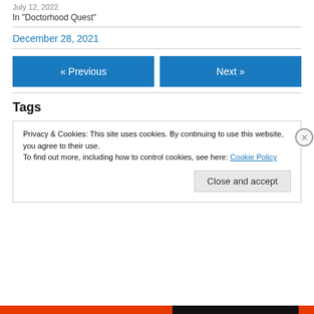July 12, 2022
In "Doctorhood Quest"
December 28, 2021
« Previous
Next »
Tags
Privacy & Cookies: This site uses cookies. By continuing to use this website, you agree to their use.
To find out more, including how to control cookies, see here: Cookie Policy
Close and accept